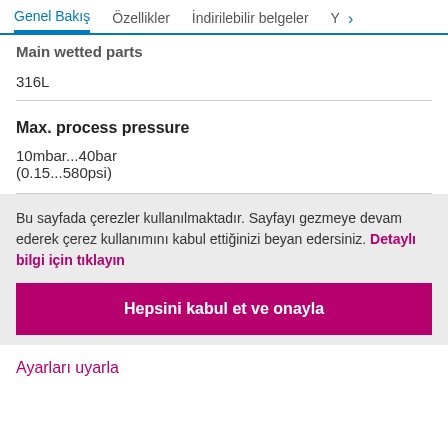Genel Bakış  Özellikler  İndirilebilir belgeler  Y >
Main wetted parts
316L
Max. process pressure
10mbar...40bar
(0.15...580psi)
Bu sayfada çerezler kullanılmaktadır. Sayfayı gezmeye devam ederek çerez kullanımını kabul ettiğinizi beyan edersiniz. Detaylı bilgi için tıklayın
Hepsini kabul et ve onayla
Ayarları uyarla